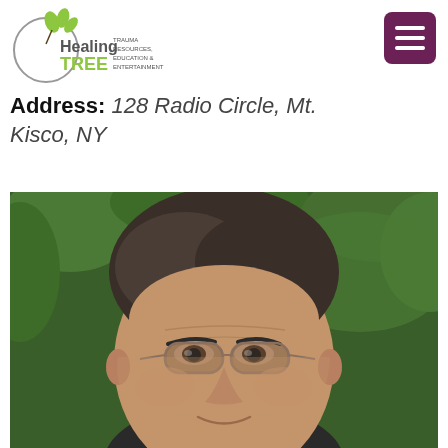[Figure (logo): Healing TREE logo — circular design with leaves, text: Healing TREE, TRAUMA RESOURCES, EDUCATION & ENTERTAINMENT]
[Figure (other): Hamburger menu button — purple/maroon rounded rectangle with three white horizontal bars]
Address: 128 Radio Circle, Mt. Kisco, NY
[Figure (photo): Close-up portrait photo of a middle-aged man with dark hair, wearing thin-framed oval glasses, with green foliage in the background]